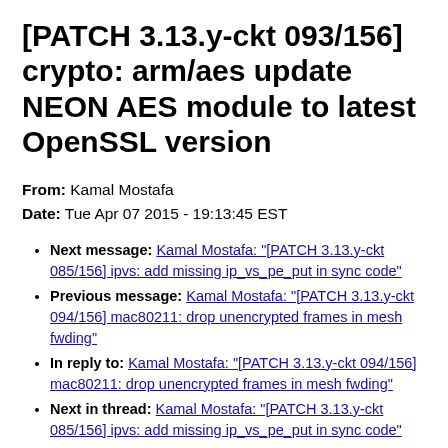[PATCH 3.13.y-ckt 093/156] crypto: arm/aes update NEON AES module to latest OpenSSL version
From: Kamal Mostafa
Date: Tue Apr 07 2015 - 19:13:45 EST
Next message: Kamal Mostafa: "[PATCH 3.13.y-ckt 085/156] ipvs: add missing ip_vs_pe_put in sync code"
Previous message: Kamal Mostafa: "[PATCH 3.13.y-ckt 094/156] mac80211: drop unencrypted frames in mesh fwding"
In reply to: Kamal Mostafa: "[PATCH 3.13.y-ckt 094/156] mac80211: drop unencrypted frames in mesh fwding"
Next in thread: Kamal Mostafa: "[PATCH 3.13.y-ckt 085/156] ipvs: add missing ip_vs_pe_put in sync code"
Messages sorted by: [ date ] [ thread ] [ subject ] [ author ]
3.13.11-ckt19 -stable review patch. If anyone has any objections,